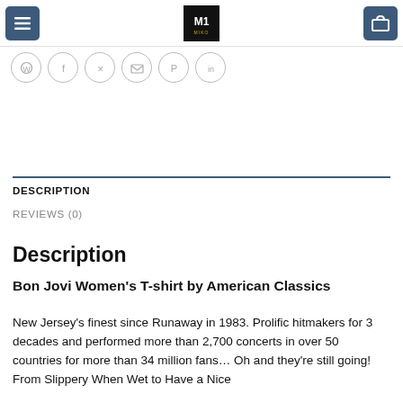[Figure (screenshot): Navigation bar with hamburger menu button (dark blue), center logo (black background with white M1 text), and cart icon button (dark blue) on the right]
[Figure (infographic): Row of social sharing icons in circular outlines: WhatsApp, Facebook, Twitter, Email, Pinterest, LinkedIn]
DESCRIPTION
REVIEWS (0)
Description
Bon Jovi Women's T-shirt by American Classics
New Jersey's finest since Runaway in 1983. Prolific hitmakers for 3 decades and performed more than 2,700 concerts in over 50 countries for more than 34 million fans… Oh and they're still going! From Slippery When Wet to Have a Nice